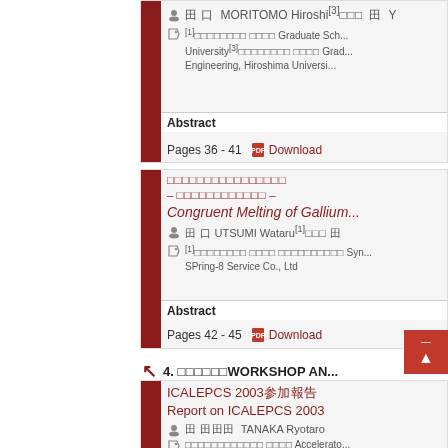MORITOMO Hiroshi[3] ... Y...
[1]... Graduate Sch... University[3]... Grad... Engineering, Hiroshima Universi...
Abstract
Pages 36 - 41   Download
[Japanese title] - [Japanese subtitle] - Congruent Melting of Gallium...
UTSUMI Wataru[1] ...
[1]... Syn... SPring-8 Service Co., Ltd
Abstract
Pages 42 - 45   Download
4. [Japanese]WORKSHOP AN...
ICALEPCS 2003[Japanese] Report on ICALEPCS 2003
TANAKA Ryotaro
[Japanese]... Accelerato...